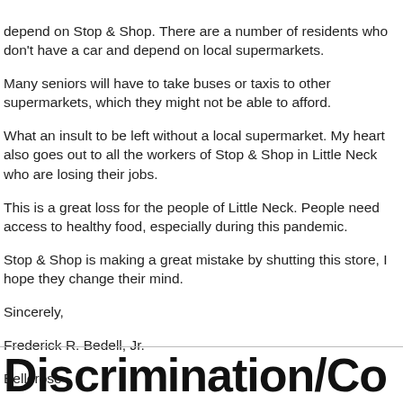depend on Stop & Shop. There are a number of residents who don't have a car and depend on local supermarkets. Many seniors will have to take buses or taxis to other supermarkets, which they might not be able to afford. What an insult to be left without a local supermarket. My heart also goes out to all the workers of Stop & Shop in Little Neck who are losing their jobs. This is a great loss for the people of Little Neck. People need access to healthy food, especially during this pandemic. Stop & Shop is making a great mistake by shutting this store, I hope they change their mind. Sincerely, Frederick R. Bedell, Jr. Bellerose
Di...